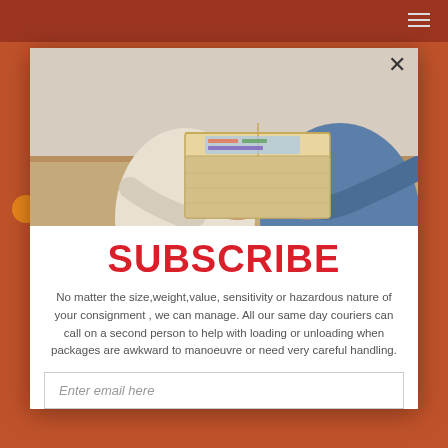[Figure (photo): Two people exchanging or handling a cardboard box on a table, one person wearing a cream sweater and the other in a denim jacket.]
SUBSCRIBE
No matter the size,weight,value, sensitivity or hazardous nature of your consignment , we can manage. All our same day couriers can call on a second person to help with loading or unloading when packages are awkward to manoeuvre or need very careful handling.
Enter email here